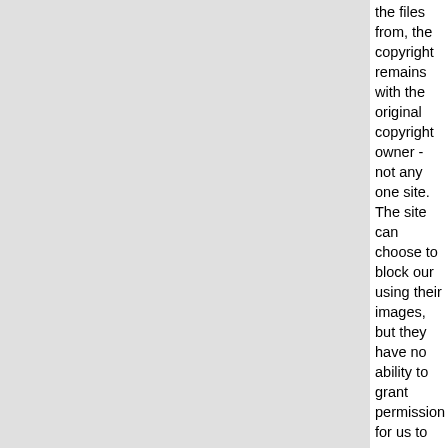the files from, the copyright remains with the original copyright owner - not any one site. The site can choose to block our using their images, but they have no ability to grant permission for us to use any image - their own use of the image is also infringing on the same copyright, if indeed any infringement is occurring. As mentioned